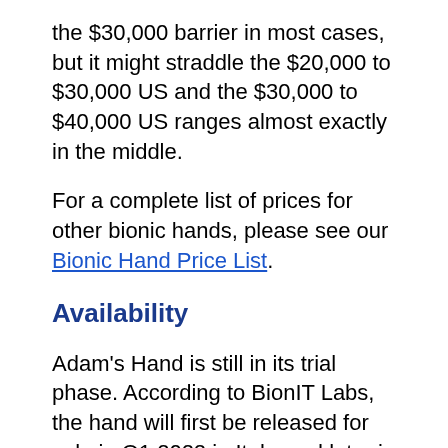the $30,000 barrier in most cases, but it might straddle the $20,000 to $30,000 US and the $30,000 to $40,000 US ranges almost exactly in the middle.
For a complete list of prices for other bionic hands, please see our Bionic Hand Price List.
Availability
Adam's Hand is still in its trial phase. According to BionIT Labs, the hand will first be released for sale in Q1 2022 in Italy, and later in 2022 in Germany, France, Spain, and